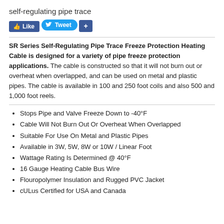self-regulating pipe trace
[Figure (other): Social media buttons: Like (Facebook), Tweet (Twitter), and a plus (+) button]
SR Series Self-Regulating Pipe Trace Freeze Protection Heating Cable is designed for a variety of pipe freeze protection applications. The cable is constructed so that it will not burn out or overheat when overlapped, and can be used on metal and plastic pipes. The cable is available in 100 and 250 foot coils and also 500 and 1,000 foot reels.
Stops Pipe and Valve Freeze Down to -40°F
Cable Will Not Burn Out Or Overheat When Overlapped
Suitable For Use On Metal and Plastic Pipes
Available in 3W, 5W, 8W or 10W / Linear Foot
Wattage Rating Is Determined @ 40°F
16 Gauge Heating Cable Bus Wire
Flouropolymer Insulation and Rugged PVC Jacket
cULus Certified for USA and Canada